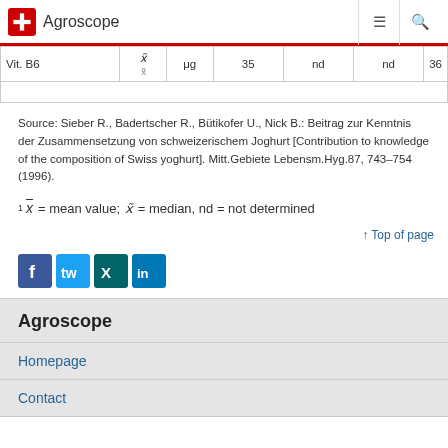Agroscope
| Vit. B6 | x̃ | μg | 35 | nd | nd | 36 |
| --- | --- | --- | --- | --- | --- | --- |
|  |  |  |  |  |  |  |
Source: Sieber R., Badertscher R., Bütikofer U., Nick B.: Beitrag zur Kenntnis der Zusammensetzung von schweizerischem Joghurt [Contribution to knowledge of the composition of Swiss yoghurt]. Mitt.Gebiete Lebensm.Hyg.87, 743–754 (1996).
↑ Top of page
[Figure (other): Social media share icons: Facebook, Twitter, Xing, LinkedIn]
Agroscope
Homepage
Contact